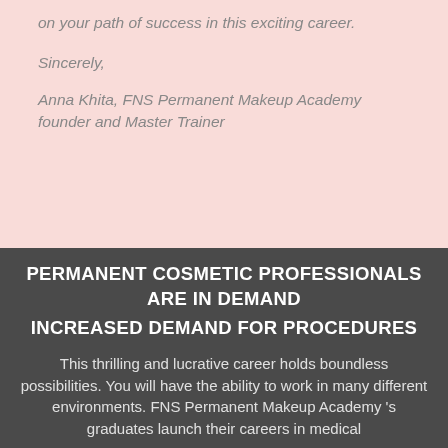on your path of success in this exciting career.
Sincerely,
Anna Khita, FNS Permanent Makeup Academy founder and Master Trainer
PERMANENT COSMETIC PROFESSIONALS ARE IN DEMAND
INCREASED DEMAND FOR PROCEDURES
This thrilling and lucrative career holds boundless possibilities. You will have the ability to work in many different environments. FNS Permanent Makeup Academy 's graduates launch their careers in medical